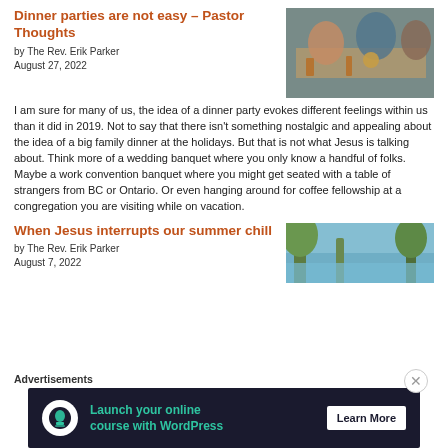Dinner parties are not easy – Pastor Thoughts
by The Rev. Erik Parker
August 27, 2022
[Figure (photo): People seated at a dinner party table with food and drinks]
I am sure for many of us, the idea of a dinner party evokes different feelings within us than it did in 2019. Not to say that there isn't something nostalgic and appealing about the idea of a big family dinner at the holidays. But that is not what Jesus is talking about. Think more of a wedding banquet where you only know a handful of folks. Maybe a work convention banquet where you might get seated with a table of strangers from BC or Ontario. Or even hanging around for coffee fellowship at a congregation you are visiting while on vacation.
When Jesus interrupts our summer chill
by The Rev. Erik Parker
August 7, 2022
[Figure (photo): Trees and lake scene in summer]
Advertisements
[Figure (infographic): Advertisement banner: Launch your online course with WordPress – Learn More]